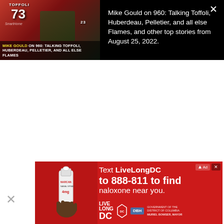[Figure (screenshot): Video thumbnail showing hockey players including player #73 (Toffoli) in Calgary Flames red jersey and player #23 in Dallas Stars green jersey on ice. Overlay text reads 'MIKE GOULD ON 960: TALKING TOFFOLI, HUBERDEAU, PELLETIER, AND ALL ELSE FLAMES']
Mike Gould on 960: Talking Toffoli, Huberdeau, Pelletier, and all else Flames, and other top stories from August 25, 2022.
[Figure (screenshot): Advertisement for LiveLongDC naloxone finder. Red background with image of hand holding Narcan nasal spray. Text: 'Text LiveLongDC to 888-811 to find naloxone near you.' Logos: LiveLong DC, DBH, Government of the District of Columbia, Muriel Bowser Mayor.]